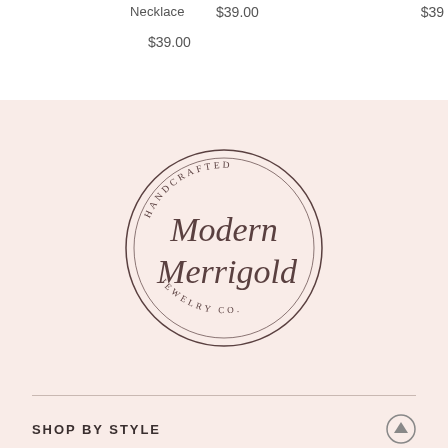Necklace
$39.00
$39.00
$39
[Figure (logo): Modern Merrigold Jewelry Co. circular logo with script lettering, surrounded by text reading HANDCRAFTED at top and JEWELRY CO. at bottom]
SHOP BY STYLE
CUSTOMER SERVICE